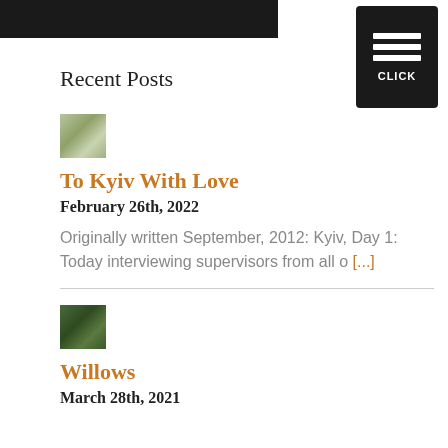Recent Posts
[Figure (photo): Small thumbnail photo of Kyiv cityscape]
To Kyiv With Love
February 26th, 2022
Originally written September, 2012: Kyiv, Day 1: Today interviewing supervisors from all o [...]
[Figure (photo): Small thumbnail photo with green/nature tones for Willows post]
Willows
March 28th, 2021